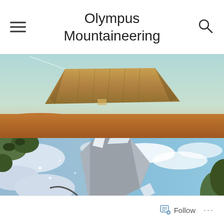Olympus Mountaineering
[Figure (photo): Mountain landscape with a large rocky flat-topped peak under a hazy sky, with orange-brown rolling hills in the foreground]
[Figure (photo): Winter mountaineering scene with snow-covered rocks, green foliage, a climber's boots and rope visible, blue cloudy sky in background]
Follow ...